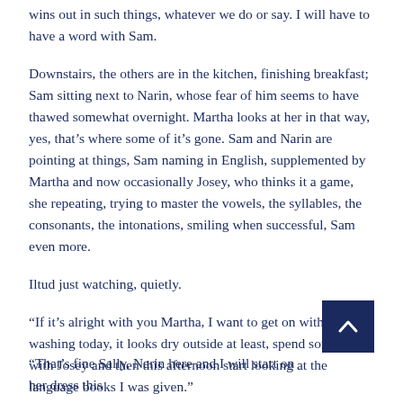wins out in such things, whatever we do or say.  I will have to have a word with Sam.
Downstairs, the others are in the kitchen, finishing breakfast; Sam sitting next to Narin, whose fear of him seems to have thawed somewhat overnight.  Martha looks at her in that way, yes, that's where some of it's gone.  Sam and Narin are pointing at things, Sam naming in English, supplemented by Martha and now occasionally Josey, who thinks it a game, she repeating, trying to master the vowels, the syllables, the consonants, the intonations, smiling when successful, Sam even more.
Iltud just watching, quietly.
“If it’s alright with you Martha, I want to get on with the washing today, it looks dry outside at least, spend some time with Josey and then this afternoon start looking at the language books I was given.”
“That’s fine Sally, Narin here and I will start on her dress this